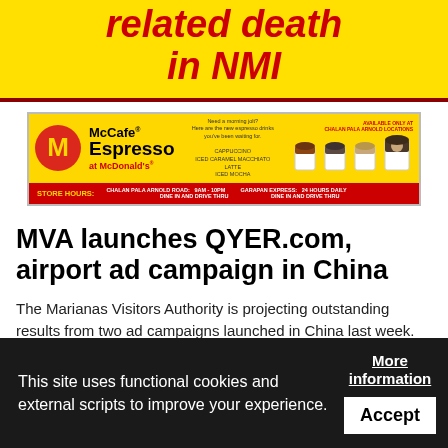related death in NMI
[Figure (illustration): McCafe Espresso at McDonald's advertisement banner with store hours for Chalan Pala Arnold Road and Garapan Express]
MVA launches QYER.com, airport ad campaign in China
The Marianas Visitors Authority is projecting outstanding results from two ad campaigns launched in China last week. The campaigns coincide with China National Day holiday and aim to attract more travel lovers to plan their travel to the Marianas later this year and during the...
This site uses functional cookies and external scripts to improve your experience.